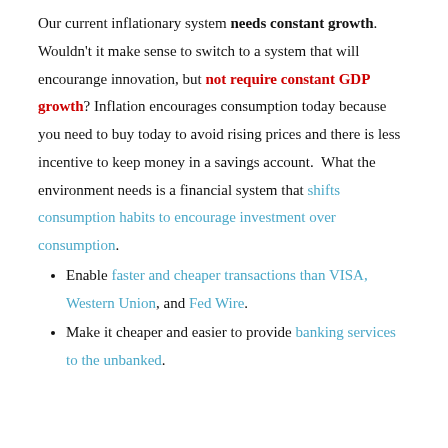Our current inflationary system needs constant growth. Wouldn't it make sense to switch to a system that will encourange innovation, but not require constant GDP growth? Inflation encourages consumption today because you need to buy today to avoid rising prices and there is less incentive to keep money in a savings account. What the environment needs is a financial system that shifts consumption habits to encourage investment over consumption.
Enable faster and cheaper transactions than VISA, Western Union, and Fed Wire.
Make it cheaper and easier to provide banking services to the unbanked.